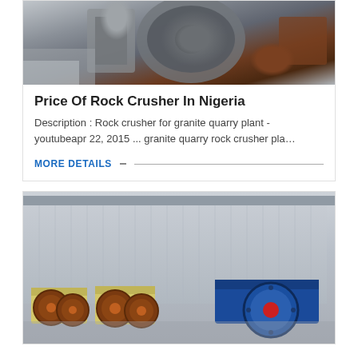[Figure (photo): Close-up photo of industrial rock crusher machinery components, showing metal parts and circular elements.]
Price Of Rock Crusher In Nigeria
Description : Rock crusher for granite quarry plant - youtubeapr 22, 2015 ... granite quarry rock crusher pla…
MORE DETAILS
[Figure (photo): Photo of multiple jaw crusher machines lined up outside an industrial facility/warehouse, showing large flywheels in red/brown and blue colors on yellow/cream colored machines.]